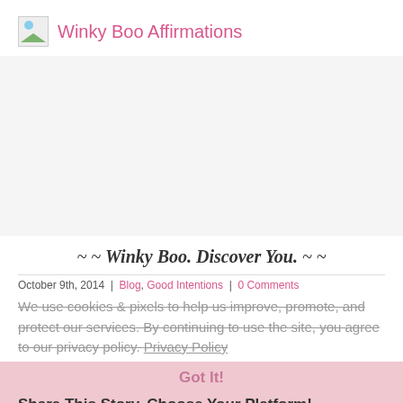Winky Boo Affirmations
[Figure (photo): Hero image area, appears blank/loading]
~ ~ Winky Boo. Discover You. ~ ~
October 9th, 2014 | Blog, Good Intentions | 0 Comments
We use cookies & pixels to help us improve, promote, and protect our services. By continuing to use the site, you agree to our privacy policy. Privacy Policy
Got It!
Share This Story, Choose Your Platform!
[Figure (infographic): Social media share icons: Facebook, Twitter, LinkedIn, Reddit, Tumblr, Pinterest, VK, Email]